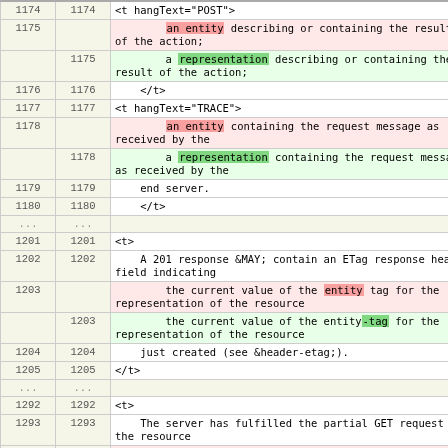|  |  |  |
| --- | --- | --- |
| 1174 | 1174 | <t hangText="POST"> |
| 1175 |  |     an entity describing or containing the result of the action; |
|  | 1175 |     a representation describing or containing the result of the action; |
| 1176 | 1176 |     </t> |
| 1177 | 1177 | <t hangText="TRACE"> |
| 1178 |  |     an entity containing the request message as received by the |
|  | 1178 |     a representation containing the request message as received by the |
| 1179 | 1179 |     end server. |
| 1180 | 1180 |     </t> |
| ... | ... |  |
| 1201 | 1201 | <t> |
| 1202 | 1202 |     A 201 response &MAY; contain an ETag response header field indicating |
| 1203 |  |     the current value of the entity tag for the representation of the resource |
|  | 1203 |     the current value of the entity-tag for the representation of the resource |
| 1204 | 1204 |     just created (see &header-etag;). |
| 1205 | 1205 | </t> |
| ... | ... |  |
| 1292 | 1292 | <t> |
| 1293 | 1293 |     The server has fulfilled the partial GET request for the resource |
| 1294 |  |     and the enclosed entity is a partial representation as defined in &status-206;. |
|  | 1294 |     and the enclosed payload is a partial representation as defined in &status-206;. |
| 1295 | 1295 | </t> |
| 1296 | 1296 | </section> |